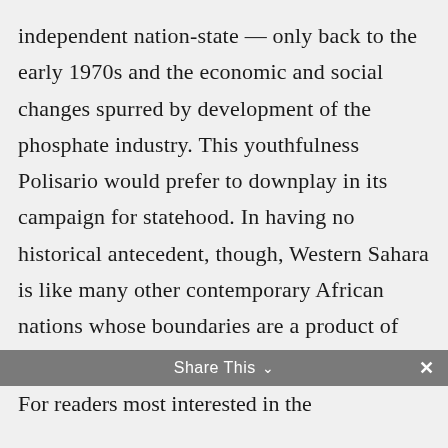independent nation-state — only back to the early 1970s and the economic and social changes spurred by development of the phosphate industry. This youthfulness Polisario would prefer to downplay in its campaign for statehood. In having no historical antecedent, though, Western Sahara is like many other contemporary African nations whose boundaries are a product of the colonial scramble to divide the continent. It is this very fragility of geographical identities that has prompted the OAU to adhere so firmly to colonial boundaries, lest a redrawing of lines anywhere encourage a spate of border wars.
Share This
For readers most interested in the